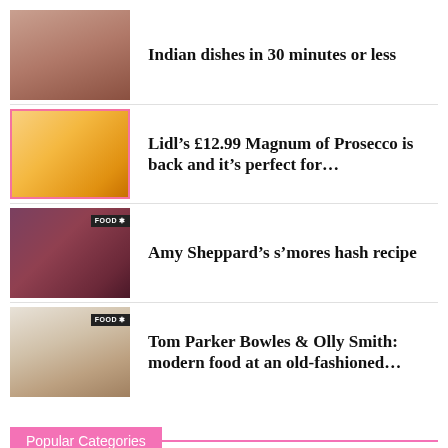[Figure (photo): Woman in red top smiling]
Indian dishes in 30 minutes or less
[Figure (photo): Prosecco being poured into champagne glasses with pink border]
Lidl’s £12.99 Magnum of Prosecco is back and it’s perfect for…
[Figure (photo): S'mores hash dish in pan with FOOD badge]
Amy Sheppard’s s’mores hash recipe
[Figure (photo): Plated dish on white plate with FOOD badge]
Tom Parker Bowles & Olly Smith: modern food at an old-fashioned…
Popular Categories
Food